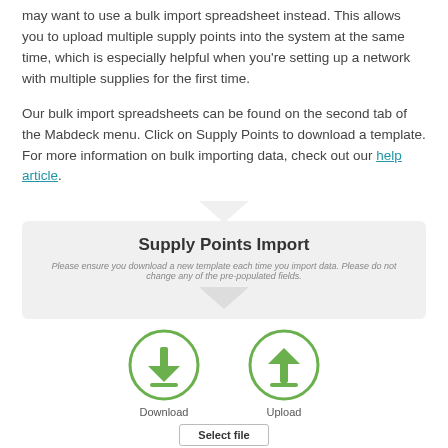may want to use a bulk import spreadsheet instead. This allows you to upload multiple supply points into the system at the same time, which is especially helpful when you're setting up a network with multiple supplies for the first time.
Our bulk import spreadsheets can be found on the second tab of the Mabdeck menu. Click on Supply Points to download a template. For more information on bulk importing data, check out our help article.
[Figure (screenshot): Supply Points Import dialog screenshot showing a download icon and an upload icon with a Select file button]